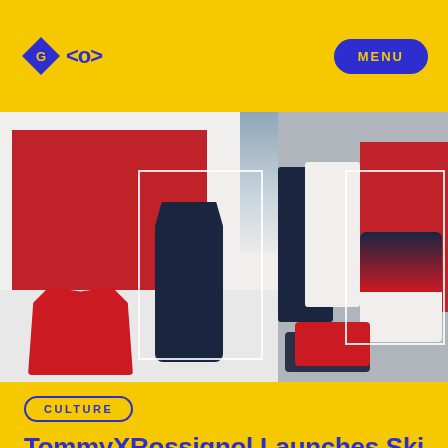[Figure (logo): GO logo with diamond shape and angle brackets]
MENU
[Figure (photo): Tommy x Rossignol ski collection fashion display with red, navy, and white ski jackets and gear arranged in a styled room with red and white background panels]
CULTURE
TommyXRossignol Launches Ski Collection this Month